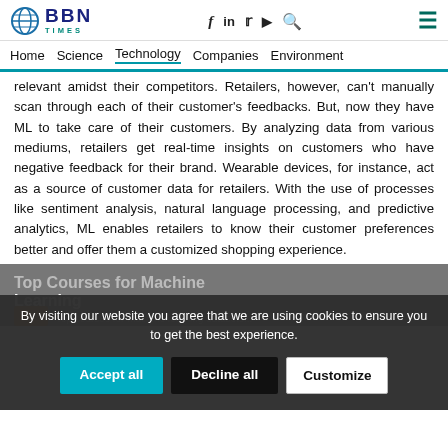BBN TIMES — Home | Science | Technology | Companies | Environment
relevant amidst their competitors. Retailers, however, can't manually scan through each of their customer's feedbacks. But, now they have ML to take care of their customers. By analyzing data from various mediums, retailers get real-time insights on customers who have negative feedback for their brand. Wearable devices, for instance, act as a source of customer data for retailers. With the use of processes like sentiment analysis, natural language processing, and predictive analytics, ML enables retailers to know their customer preferences better and offer them a customized shopping experience.
Top Courses for Machine Learning
By visiting our website you agree that we are using cookies to ensure you to get the best experience.